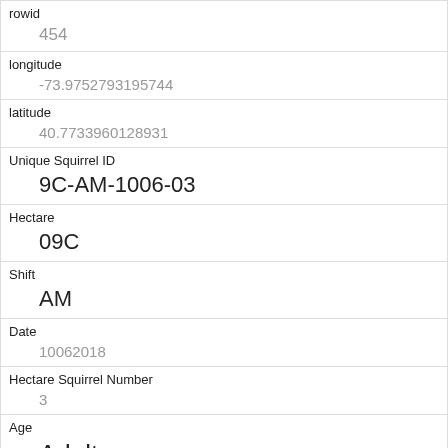| rowid | 454 |
| longitude | -73.9752793195744 |
| latitude | 40.7733960128931 |
| Unique Squirrel ID | 9C-AM-1006-03 |
| Hectare | 09C |
| Shift | AM |
| Date | 10062018 |
| Hectare Squirrel Number | 3 |
| Age | Adult |
| Primary Fur Color | Cinnamon |